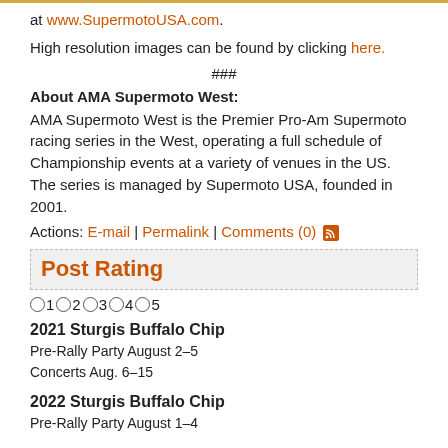at www.SupermotoUSA.com.
High resolution images can be found by clicking here.
###
About AMA Supermoto West:
AMA Supermoto West is the Premier Pro-Am Supermoto racing series in the West, operating a full schedule of Championship events at a variety of venues in the US. The series is managed by Supermoto USA, founded in 2001.
Actions: E-mail | Permalink | Comments (0)
Post Rating
○1○2○3○4○5
2021 Sturgis Buffalo Chip
Pre-Rally Party August 2–5
Concerts Aug. 6–15
2022 Sturgis Buffalo Chip
Pre-Rally Party August 1–4